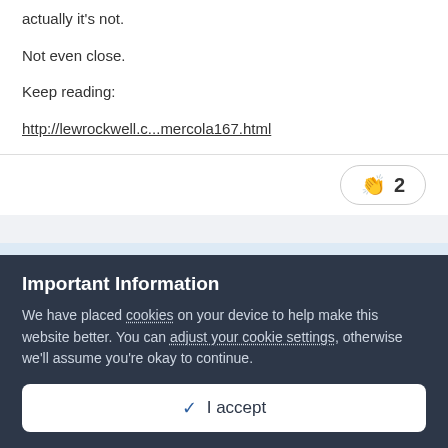actually it's not.
Not even close.
Keep reading:
http://lewrockwell.c...mercola167.html
👏 2
Share
Important Information
We have placed cookies on your device to help make this website better. You can adjust your cookie settings, otherwise we'll assume you're okay to continue.
✓  I accept